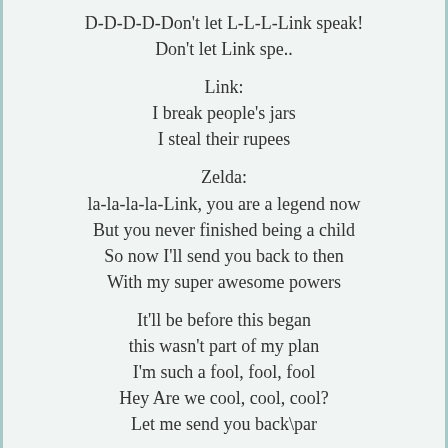D-D-D-D-Don't let L-L-L-Link speak!
Don't let Link spe..
Link:
I break people's jars
I steal their rupees
Zelda:
la-la-la-la-Link, you are a legend now
But you never finished being a child
So now I'll send you back to then
With my super awesome powers
It'll be before this began
this wasn't part of my plan
I'm such a fool, fool, fool
Hey Are we cool, cool, cool?
Let me send you back\par
Link:
We are done, Navi come back!